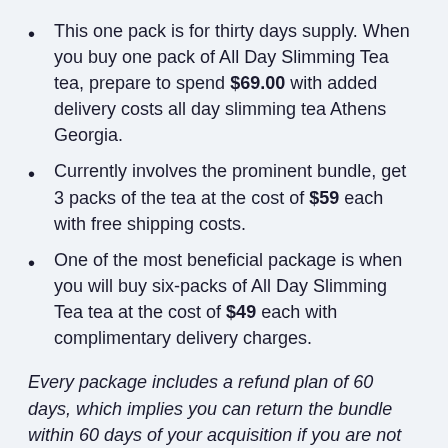This one pack is for thirty days supply. When you buy one pack of All Day Slimming Tea tea, prepare to spend $69.00 with added delivery costs all day slimming tea Athens Georgia.
Currently involves the prominent bundle, get 3 packs of the tea at the cost of $59 each with free shipping costs.
One of the most beneficial package is when you will buy six-packs of All Day Slimming Tea tea at the cost of $49 each with complimentary delivery charges.
Every package includes a refund plan of 60 days, which implies you can return the bundle within 60 days of your acquisition if you are not pleased or do not see any kind of substantial outcomes from it. All it requires to detail on dissatisfaction and